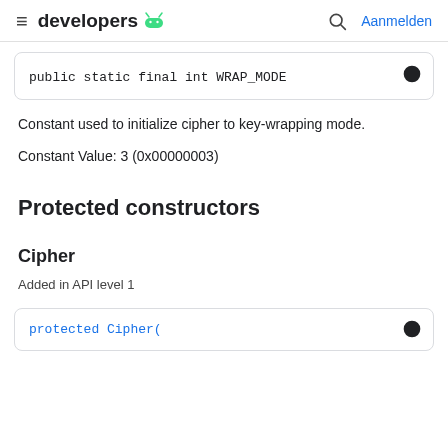developers  Aanmelden
public static final int WRAP_MODE
Constant used to initialize cipher to key-wrapping mode.
Constant Value: 3 (0x00000003)
Protected constructors
Cipher
Added in API level 1
protected Cipher(...)